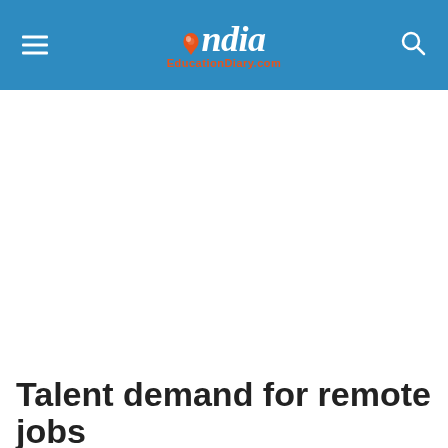India EducationDiary.com
Talent demand for remote jobs